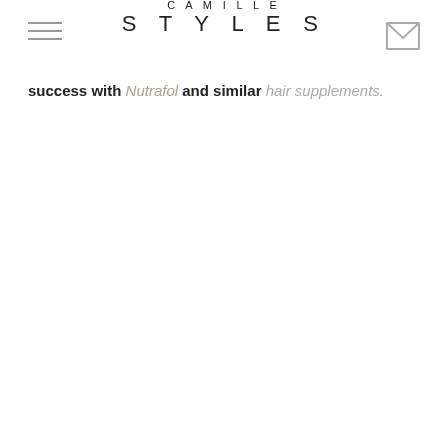CAMILLE STYLES
success with Nutrafol and similar hair supplements.